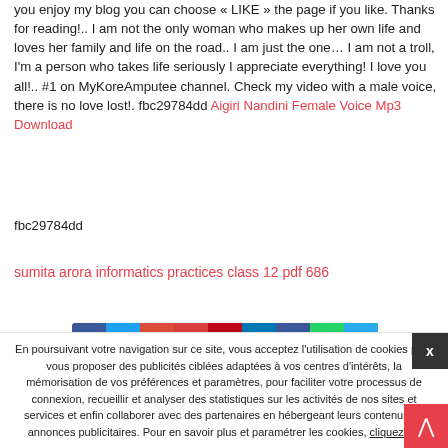you enjoy my blog you can choose « LIKE » the page if you like. Thanks for reading!.. I am not the only woman who makes up her own life and loves her family and life on the road.. I am just the one… I am not a troll, I'm a person who takes life seriously I appreciate everything! I love you all!.. #1 on MyKoreAmputee channel. Check my video with a male voice, there is no love lost!. fbc29784dd Aigiri Nandini Female Voice Mp3 Download
fbc29784dd
sumita arora informatics practices class 12 pdf 686
[Figure (other): Row of social media share buttons: Facebook, Twitter, Google+, another icon, Pinterest, LinkedIn, another icon, WhatsApp, Telegram]
En poursuivant votre navigation sur ce site, vous acceptez l'utilisation de cookies pour vous proposer des publicités ciblées adaptées à vos centres d'intérêts, la mémorisation de vos préférences et paramètres, pour faciliter votre processus de connexion, recueillir et analyser des statistiques sur les activités de nos sites et services et enfin collaborer avec des partenaires en hébergeant leurs contenus ou annonces publicitaires. Pour en savoir plus et paramétrer les cookies, cliquez ici.